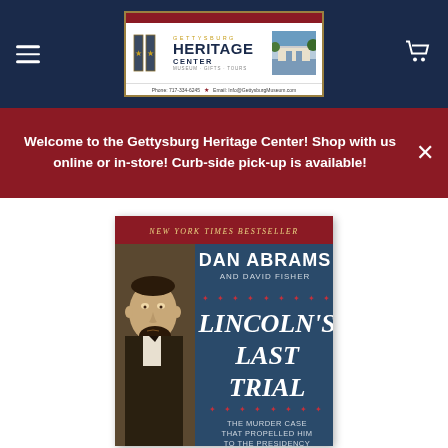Gettysburg Heritage Center — Museum · Gifts · Tours | Phone: 717-334-6245 ★ Email: Info@GettysburgMuseum.com
Welcome to the Gettysburg Heritage Center! Shop with us online or in-store! Curb-side pick-up is available!
[Figure (photo): Book cover: Lincoln's Last Trial by Dan Abrams and David Fisher. New York Times Bestseller. The Murder Case That Propelled Him to the Presidency. Shows a sepia portrait of Abraham Lincoln on a blue background with red banner and decorative stars.]